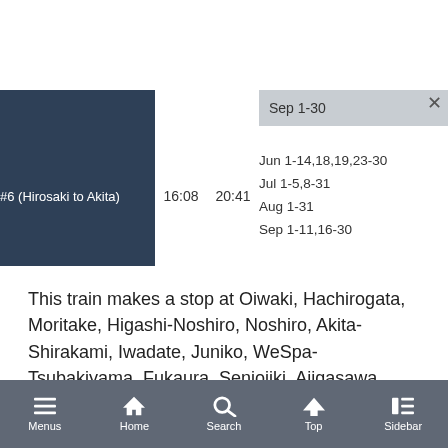|  |  |  | Sep 1-30 |
| --- | --- | --- | --- |
| #6 (Hirosaki to Akita) | 16:08 | 20:41 | Jun 1-14,18,19,23-30
Jul 1-5,8-31
Aug 1-31
Sep 1-11,16-30 |
This train makes a stop at Oiwaki, Hachirogata, Moritake, Higashi-Noshiro, Noshiro, Akita-Shirakami, Iwadate, Juniko, WeSpa-Tsubakiyama, Fukaura, Senjojiki, Ajigasawa, Mutsu-Morita, Kizukuri, Goshogawara, Mutsu-Tsuruta, Itayanagi, Kawabe, Hirosaki and Shin-Aomori. If
Menus | Home | Search | Top | Sidebar